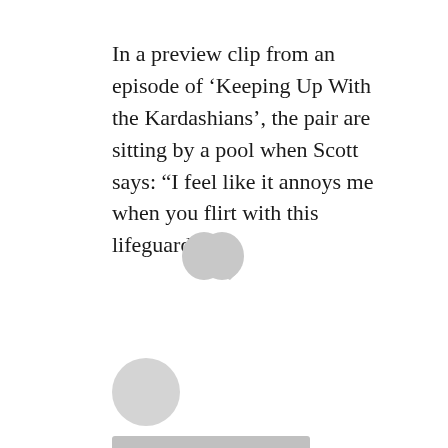In a preview clip from an episode of 'Keeping Up With the Kardashians', the pair are sitting by a pool when Scott says: “I feel like it annoys me when you flirt with this lifeguard.”
[Figure (illustration): Large decorative quotation mark graphic in light grey]
[Figure (illustration): Author avatar placeholder: grey circle above two grey rounded rectangles representing name text placeholders]